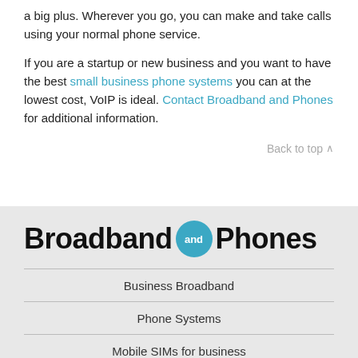a big plus. Wherever you go, you can make and take calls using your normal phone service.
If you are a startup or new business and you want to have the best small business phone systems you can at the lowest cost, VoIP is ideal. Contact Broadband and Phones for additional information.
Back to top ^
[Figure (logo): Broadband and Phones logo: bold text with a teal circle containing 'and' between 'Broadband' and 'Phones']
Business Broadband
Phone Systems
Mobile SIMs for business